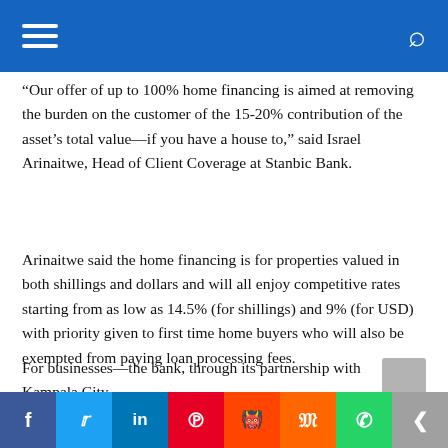Navigation header with hamburger menu and search icon
“Our offer of up to 100% home financing is aimed at removing the burden on the customer of the 15-20% contribution of the asset’s total value—if you have a house to,” said Israel Arinaitwe, Head of Client Coverage at Stanbic Bank.
Arinaitwe said the home financing is for properties valued in both shillings and dollars and will all enjoy competitive rates starting from as low as 14.5% (for shillings) and 9% (for USD) with priority given to first time home buyers who will also be exempted from paying loan processing fees.
For businesses—the bank, through its partnership with Kampala City
Social share bar: Facebook, Twitter, LinkedIn, Pinterest, Reddit, Mix, WhatsApp, Share